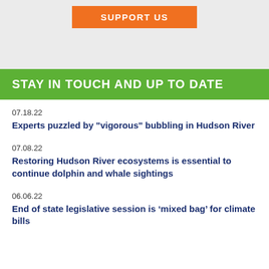[Figure (other): Orange 'SUPPORT US' button on gray background]
STAY IN TOUCH AND UP TO DATE
07.18.22
Experts puzzled by "vigorous" bubbling in Hudson River
07.08.22
Restoring Hudson River ecosystems is essential to continue dolphin and whale sightings
06.06.22
End of state legislative session is ‘mixed bag’ for climate bills